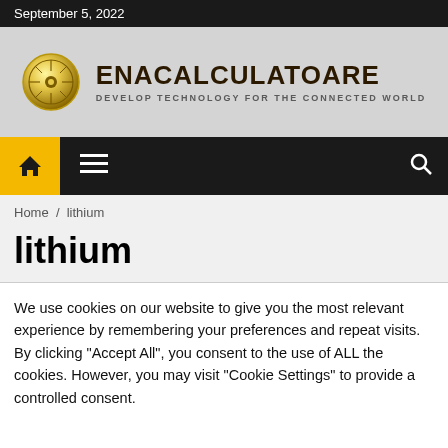September 5, 2022
[Figure (logo): Enacalculatoare logo with circular gold emblem and text: ENACALCULATOARE / DEVELOP TECHNOLOGY FOR THE CONNECTED WORLD]
Home / lithium
lithium
We use cookies on our website to give you the most relevant experience by remembering your preferences and repeat visits. By clicking "Accept All", you consent to the use of ALL the cookies. However, you may visit "Cookie Settings" to provide a controlled consent.